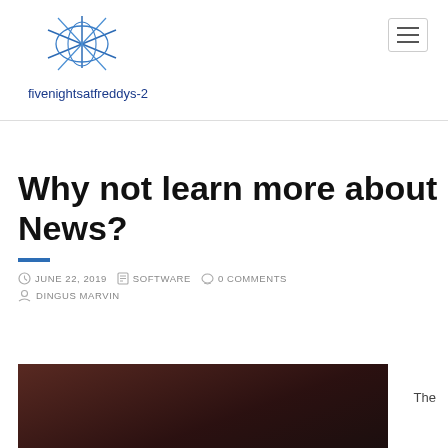[Figure (logo): fivenightsatfreddys-2 website logo with star/asterisk graphic in blue]
Why not learn more about News?
JUNE 22, 2019  SOFTWARE  0 COMMENTS  DINGUS MARVIN
[Figure (photo): Dark photo partially visible at the bottom of the page]
The